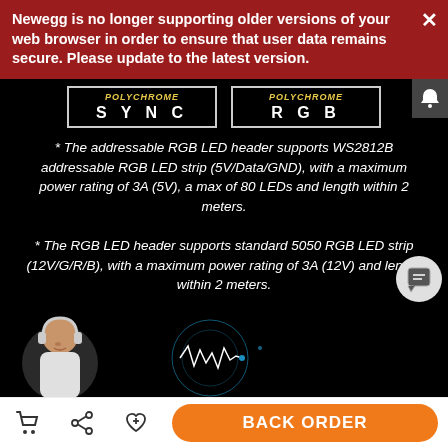Newegg is no longer supporting older versions of your web browser in order to ensure that user data remains secure. Please update to the latest version.
[Figure (logo): Polychrome SYNC and Polychrome RGB logos side by side in white bordered boxes]
* The addressable RGB LED header supports WS2812B addressable RGB LED strip (5V/Data/GND), with a maximum power rating of 3A (5V), a max of 80 LEDs and length within 2 meters.
* The RGB LED header supports standard 5050 RGB LED strip (12V/G/R/B), with a maximum power rating of 3A (12V) and length within 2 meters.
[Figure (photo): Woman with headphones on left, digital soundwave circle graphic on dark background]
BACK ORDER